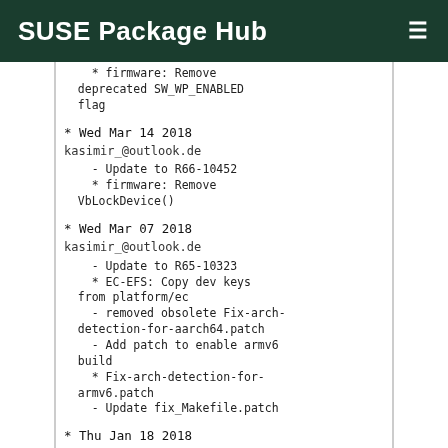SUSE Package Hub
* firmware: Remove deprecated SW_WP_ENABLED flag
* Wed Mar 14 2018 kasimir_@outlook.de
- Update to R66-10452
  * firmware: Remove VbLockDevice()
* Wed Mar 07 2018 kasimir_@outlook.de
- Update to R65-10323
  * EC-EFS: Copy dev keys from platform/ec
- removed obsolete Fix-arch-detection-for-aarch64.patch
- Add patch to enable armv6 build
  * Fix-arch-detection-for-armv6.patch
- Update fix_Makefile.patch
* Thu Jan 18 2018 guillaume@opensuse.org
- Remove full URL from Source since it breaks check script since a rename may happen (depending on web browser)